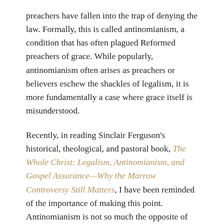preachers have fallen into the trap of denying the law. Formally, this is called antinomianism, a condition that has often plagued Reformed preachers of grace. While popularly, antinomianism often arises as preachers or believers eschew the shackles of legalism, it is more fundamentally a case where grace itself is misunderstood.
Recently, in reading Sinclair Ferguson's historical, theological, and pastoral book, The Whole Christ: Legalism, Antinomianism, and Gospel Assurance—Why the Marrow Controversy Still Matters, I have been reminded of the importance of making this point. Antinomianism is not so much the opposite of legalism (nor the reverse). Rather, legalism and antinomianism are both fundamental misunderstandings the gospel, the way the law leads to the gospel (see Romans 3:21; 1 Timothy